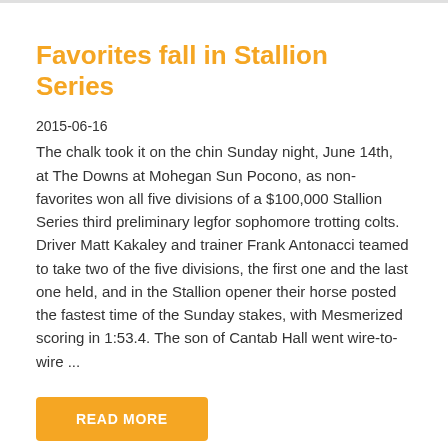Favorites fall in Stallion Series
2015-06-16
The chalk took it on the chin Sunday night, June 14th, at The Downs at Mohegan Sun Pocono, as non-favorites won all five divisions of a $100,000 Stallion Series third preliminary leg for sophomore trotting colts. Driver Matt Kakaley and trainer Frank Antonacci teamed to take two of the five divisions, the first one and the last one held, and in the Stallion opener their horse posted the fastest time of the Sunday stakes, with Mesmerized scoring in 1:53.4. The son of Cantab Hall went wire-to-wire ...
READ MORE
[Figure (other): Social share icons: Facebook (blue), Twitter (light blue), Email (gray), Plus/add (red-orange)]